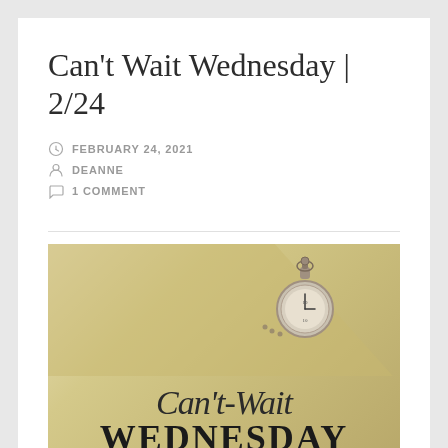Can't Wait Wednesday | 2/24
FEBRUARY 24, 2021
DEANNE
1 COMMENT
[Figure (illustration): Can't Wait Wednesday blog meme image featuring a vintage pocket watch on a warm yellow background with script text reading 'Can't-Wait' and bold uppercase text 'WEDNESDAY']